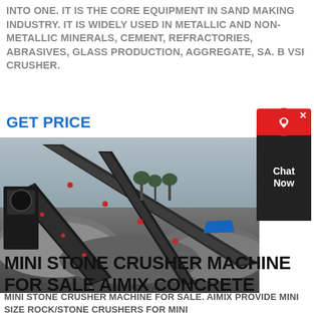INTO ONE. IT IS THE CORE EQUIPMENT IN SAND MAKING INDUSTRY. IT IS WIDELY USED IN METALLIC AND NON-METALLIC MINERALS, CEMENT, REFRACTORIES, ABRASIVES, GLASS PRODUCTION, AGGREGATE, SA. B VSI CRUSHER.
GET PRICE
[Figure (photo): Industrial stone crushing facility with conveyor belts carrying crushed rock/gravel at a mining or aggregate production site. Multiple conveyor belts visible at angles with large piles of crushed stone material.]
[Figure (other): Chat widget with red background, headset icon, and dark bottom section with 'Chat Now' text. Has a close X button in top right corner.]
MINI STONE CRUSHER MACHINE FOR SALE AIMIX CONCRETE
MINI STONE CRUSHER MACHINE FOR SALE. AIMIX PROVIDE MINI SIZE ROCK/STONE CRUSHERS FOR MINI